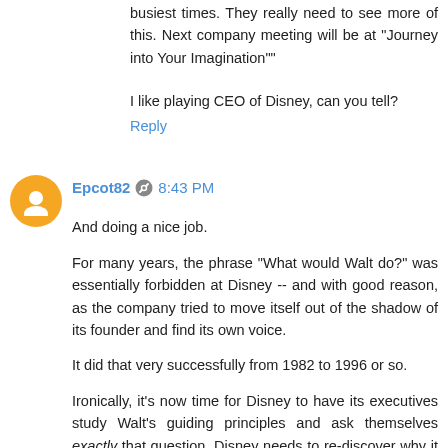busiest times. They really need to see more of this. Next company meeting will be at "Journey into Your Imagination""
I like playing CEO of Disney, can you tell?
Reply
Epcot82 8:43 PM
And doing a nice job.
For many years, the phrase "What would Walt do?" was essentially forbidden at Disney -- and with good reason, as the company tried to move itself out of the shadow of its founder and find its own voice.
It did that very successfully from 1982 to 1996 or so.
Ironically, it's now time for Disney to have its executives study Walt's guiding principles and ask themselves exactly that question. Disney needs to re-discover why it holds a